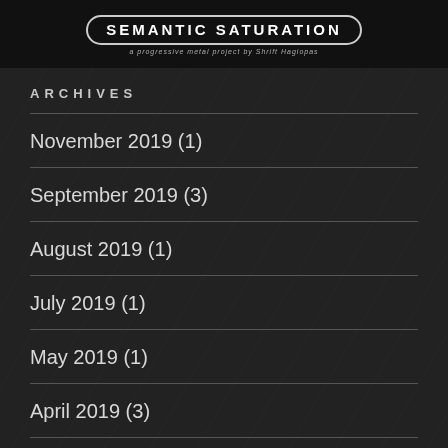SEMANTIC SATURATION — a progressive metal project by Shrift Hagiopas
ARCHIVES
November 2019 (1)
September 2019 (3)
August 2019 (1)
July 2019 (1)
May 2019 (1)
April 2019 (3)
February 2019 (1)